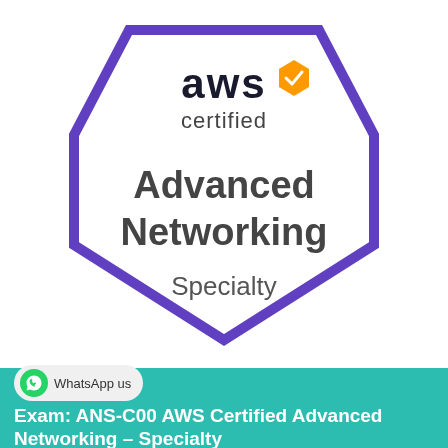[Figure (logo): AWS Certified Advanced Networking Specialty badge — a hexagon shape with purple border, white fill. Contains 'aws certified' text with orange AWS logo hexagon icon at top, and 'Advanced Networking Specialty' text in dark gray bold.]
WhatsApp us
Exam: ANS-C00 AWS Certified Advanced Networking – Specialty